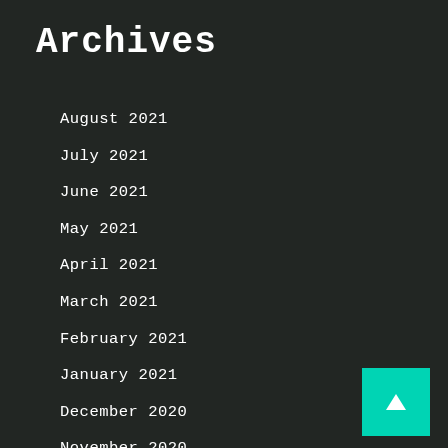Archives
August 2021
July 2021
June 2021
May 2021
April 2021
March 2021
February 2021
January 2021
December 2020
November 2020
October 2020
August 2020